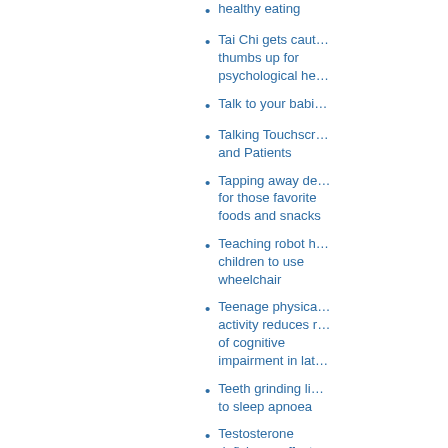healthy eating
Tai Chi gets cautious thumbs up for psychological he…
Talk to your babi…
Talking Touchscr… and Patients
Tapping away de… for those favorite foods and snacks
Teaching robot h… children to use wheelchair
Teenage physica… activity reduces r… of cognitive impairment in lat…
Teeth grinding li… to sleep apnoea
Testosterone deficiency affects male cancer survivors' quality of life
The bowels of…